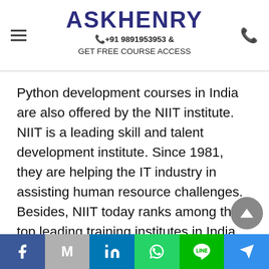ASKHENRY +91 9891953953 & GET FREE COURSE ACCESS
Python development courses in India are also offered by the NIIT institute. NIIT is a leading skill and talent development institute. Since 1981, they are helping the IT industry in assisting human resource challenges. Besides, NIIT today ranks among the top leading training institutes in India. In addition, NIIT is present across 30 countries today. They offer training to individuals as well as enterprises. They also offer many courses in many fields. The institute not only has industry experts